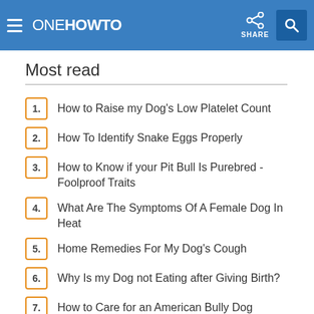oneHOWTO — SHARE
Most read
1. How to Raise my Dog's Low Platelet Count
2. How To Identify Snake Eggs Properly
3. How to Know if your Pit Bull Is Purebred - Foolproof Traits
4. What Are The Symptoms Of A Female Dog In Heat
5. Home Remedies For My Dog's Cough
6. Why Is my Dog not Eating after Giving Birth?
7. How to Care for an American Bully Dog
8. What to Feed a Dog with an Upset Stomach